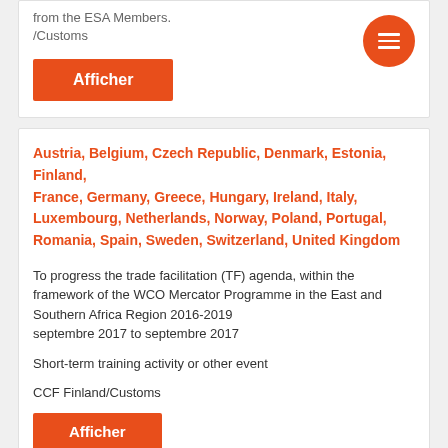from the ESA Members.
/Customs
Afficher
Austria, Belgium, Czech Republic, Denmark, Estonia, Finland, France, Germany, Greece, Hungary, Ireland, Italy, Luxembourg, Netherlands, Norway, Poland, Portugal, Romania, Spain, Sweden, Switzerland, United Kingdom
To progress the trade facilitation (TF) agenda, within the framework of the WCO Mercator Programme in the East and Southern Africa Region 2016-2019
septembre 2017 to septembre 2017
Short-term training activity or other event
CCF Finland/Customs
Afficher